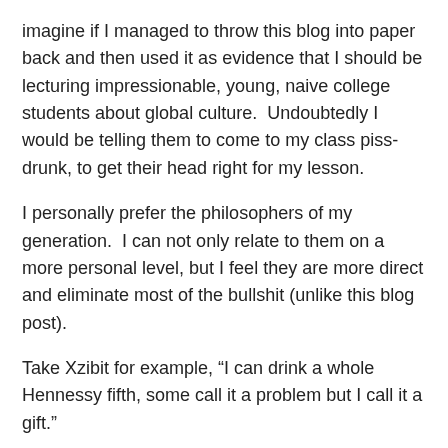imagine if I managed to throw this blog into paper back and then used it as evidence that I should be lecturing impressionable, young, naive college students about global culture.  Undoubtedly I would be telling them to come to my class piss-drunk, to get their head right for my lesson.
I personally prefer the philosophers of my generation.  I can not only relate to them on a more personal level, but I feel they are more direct and eliminate most of the bullshit (unlike this blog post).
Take Xzibit for example, “I can drink a whole Hennessy fifth, some call it a problem but I call it a gift.”
That is a great observation of the duality of man.  On one hand, drinking an entire fifth of Hennessy is considered a